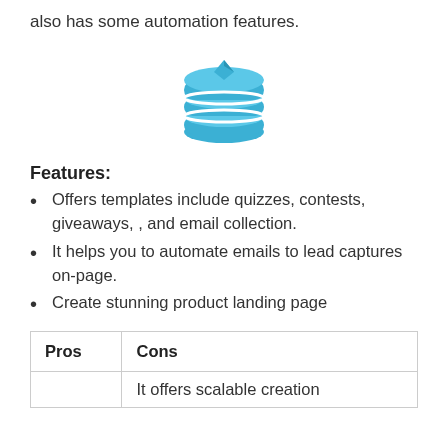also has some automation features.
[Figure (illustration): Blue stacked database/layers icon with a diamond shape on top]
Features:
Offers templates include quizzes, contests, giveaways, , and email collection.
It helps you to automate emails to lead captures on-page.
Create stunning product landing page
| Pros | Cons |
| --- | --- |
|  | It offers scalable creation |